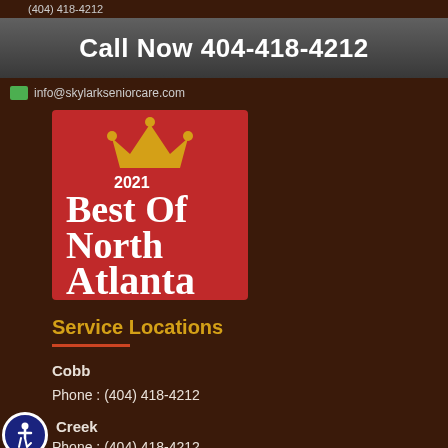(404) 418-4212
Call Now 404-418-4212
info@skylarkseniorcare.com
[Figure (logo): 2021 Best Of North Atlanta award badge — red square with gold crown, white serif text reading '2021 Best Of North Atlanta']
Service Locations
Cobb
Phone : (404) 418-4212
Creek
Phone : (404) 418-4212